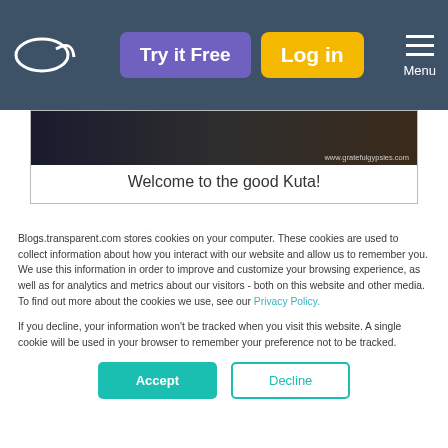Try it Free | Log in | Menu
[Figure (screenshot): Blog post image strip showing a dark photo, with watermark www.gratefulgypsies.com]
Welcome to the good Kuta!
Kuta, Bali is one of my least favorite places on Earth. It's
Blogs.transparent.com stores cookies on your computer. These cookies are used to collect information about how you interact with our website and allow us to remember you. We use this information in order to improve and customize your browsing experience, as well as for analytics and metrics about our visitors - both on this website and other media. To find out more about the cookies we use, see our Privacy Policy.
If you decline, your information won't be tracked when you visit this website. A single cookie will be used in your browser to remember your preference not to be tracked.
Accept | Decline